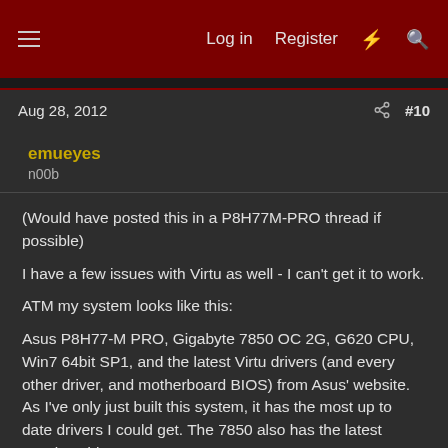Log in  Register  [lightning] [search]
Aug 28, 2012  #10
emueyes
n00b
(Would have posted this in a P8H77M-PRO thread if possible)

I have a few issues with Virtu as well - I can't get it to work.

ATM my system looks like this:

Asus P8H77-M PRO, Gigabyte 7850 OC 2G, G620 CPU, Win7 64bit SP1, and the latest Virtu drivers (and every other driver, and motherboard BIOS) from Asus' website. As I've only just built this system, it has the most up to date drivers I could get. The 7850 also has the latest Catalyst drivers.